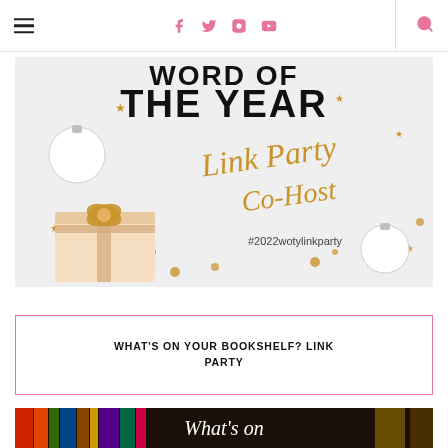Navigation header with hamburger menu, social icons (Facebook, Twitter, Instagram, YouTube), and search icon
[Figure (photo): Word of the Year Link Party Co-Host promotional image with holiday decorations (ornaments, gold stars, gift with bow), text: 'WORD OF THE YEAR Link Party Co-Host #2022wotylinkparty']
WHAT'S ON YOUR BOOKSHELF? LINK PARTY
[Figure (photo): Bookshelf image with colorful books and text 'What's on' visible]